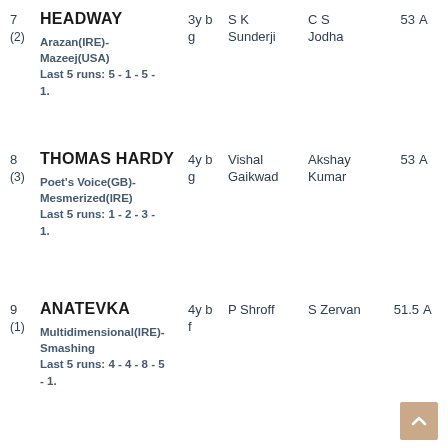7 (2) HEADWAY 3y b g S K Sunderji C S Jodha 53 A
Arazan(IRE)-Mazeej(USA)
Last 5 runs: 5 - 1 - 5 - 1.
8 (3) THOMAS HARDY 4y b g Vishal Gaikwad Akshay Kumar 53 A
Poet's Voice(GB)-Mesmerized(IRE)
Last 5 runs: 1 - 2 - 3 - 1.
9 (1) ANATEVKA 4y b f P Shroff S Zervan 51.5 A
Multidimensional(IRE)-Smashing
Last 5 runs: 4 - 4 - 8 - 5 - 1.